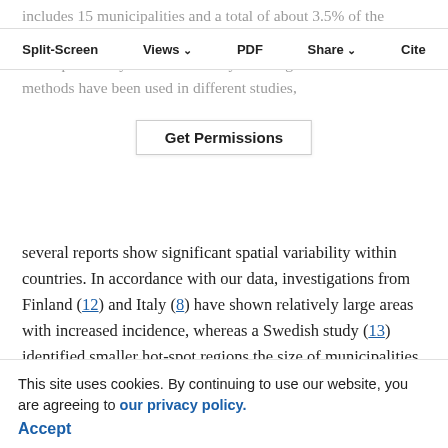includes 15 municipalities and a total of about 3.5% of the Norwegian population (16). Our study identified a cluster north of the previously identified county. Although different statistical methods have been used in different studies,
Split-Screen | Views | PDF | Share | Cite
Get Permissions
several reports show significant spatial variability within countries. In accordance with our data, investigations from Finland (12) and Italy (8) have shown relatively large areas with increased incidence, whereas a Swedish study (13) identified smaller hot-spot regions the size of municipalities.
Possible explanations for the observations
The relative increase in incidence for pure spatial clusters was smaller in magnitude than the spatiotemporal clusters. Hence, we think it is more likely that the clusters are related to more temporary conditions in parts of
This site uses cookies. By continuing to use our website, you are agreeing to our privacy policy. Accept